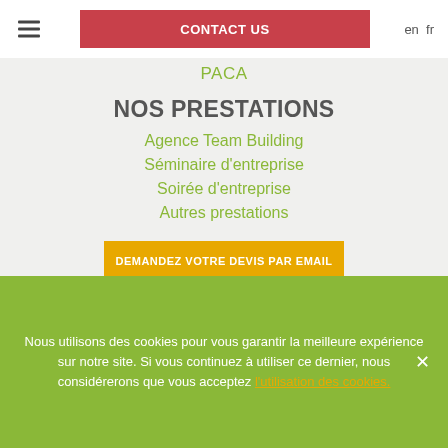CONTACT US   en   fr
PACA
NOS PRESTATIONS
Agence Team Building
Séminaire d'entreprise
Soirée d'entreprise
Autres prestations
DEMANDEZ VOTRE DEVIS PAR EMAIL
☎ Une question ? 04 42 70 93 30
Nous utilisons des cookies pour vous garantir la meilleure expérience sur notre site. Si vous continuez à utiliser ce dernier, nous considérerons que vous acceptez l'utilisation des cookies.